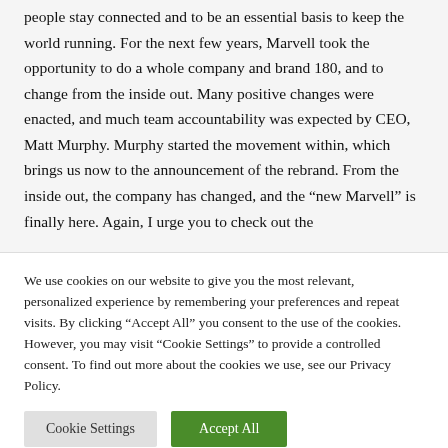people stay connected and to be an essential basis to keep the world running. For the next few years, Marvell took the opportunity to do a whole company and brand 180, and to change from the inside out. Many positive changes were enacted, and much team accountability was expected by CEO, Matt Murphy. Murphy started the movement within, which brings us now to the announcement of the rebrand. From the inside out, the company has changed, and the “new Marvell” is finally here. Again, I urge you to check out the
We use cookies on our website to give you the most relevant, personalized experience by remembering your preferences and repeat visits. By clicking “Accept All” you consent to the use of the cookies. However, you may visit "Cookie Settings" to provide a controlled consent. To find out more about the cookies we use, see our Privacy Policy.